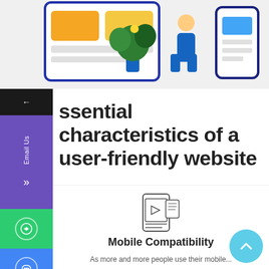[Figure (illustration): Top illustration showing a tablet UI with orange/yellow colored boxes, a decorative plant, a person standing, and a mobile phone screen on a light background]
Essential characteristics of a user-friendly website
[Figure (illustration): Icon representing Mobile Compatibility — a mobile phone with a play button and document/content lines on screen]
Mobile Compatibility
As more and more people use their mobile...